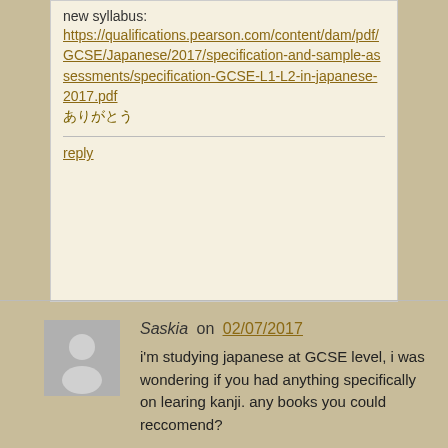new syllabus: https://qualifications.pearson.com/content/dam/pdf/GCSE/Japanese/2017/specification-and-sample-assessments/specification-GCSE-L1-L2-in-japanese-2017.pdf ありがとう
reply
[Figure (photo): Generic user avatar placeholder - grey silhouette of a person on grey background]
Saskia on 02/07/2017
i'm studying japanese at GCSE level, i was wondering if you had anything specifically on learing kanji. any books you could reccomend?